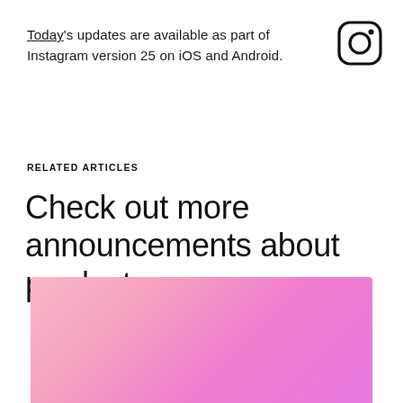Today's updates are available as part of Instagram version 25 on iOS and Android.
[Figure (logo): Instagram logo — rounded square outline with circle and dot inside]
RELATED ARTICLES
Check out more announcements about product
[Figure (illustration): Pink to magenta gradient rectangle, cropped at bottom of page]